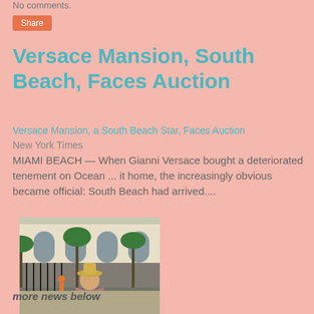No comments.
Share
Versace Mansion, South Beach, Faces Auction
Versace Mansion, a South Beach Star, Faces Auction
New York Times
MIAMI BEACH — When Gianni Versace bought a deteriorated tenement on Ocean ... it home, the increasingly obvious became official: South Beach had arrived....
[Figure (photo): A person wearing a hat stands with their back to the camera in front of the Versace Mansion, with palm trees and ornate architecture visible]
New York Times
more news below